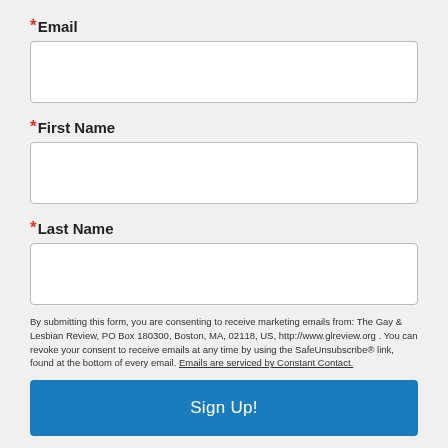*Email
*First Name
*Last Name
By submitting this form, you are consenting to receive marketing emails from: The Gay & Lesbian Review, PO Box 180300, Boston, MA, 02118, US, http://www.glreview.org . You can revoke your consent to receive emails at any time by using the SafeUnsubscribe® link, found at the bottom of every email. Emails are serviced by Constant Contact.
Sign Up!